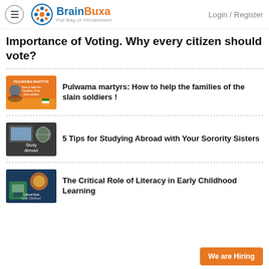BrainBuxa — Full Bag of Infotainment | Login / Register
Importance of Voting. Why every citizen should vote?
[Figure (illustration): Thumbnail for Pulwama martyrs article — orange background with stylized figure and Indian flag, text 'PULWAMA MARTYR']
Pulwama martyrs: How to help the families of the slain soldiers !
[Figure (illustration): Thumbnail for studying abroad article — dark background with books, globe, text 'Study Abroad']
5 Tips for Studying Abroad with Your Sorority Sisters
[Figure (illustration): Thumbnail for literacy article — dark background with educational icons, text about literacy in early childhood]
The Critical Role of Literacy in Early Childhood Learning
We are Hiring